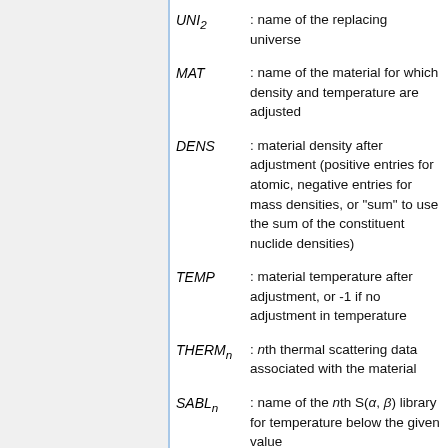UNI_2 : name of the replacing universe
MAT : name of the material for which density and temperature are adjusted
DENS : material density after adjustment (positive entries for atomic, negative entries for mass densities, or "sum" to use the sum of the constituent nuclide densities)
TEMP : material temperature after adjustment, or -1 if no adjustment in temperature
THERM_n : nth thermal scattering data associated with the material
SABL_n : name of the nth S(α, β) library for temperature below the given value